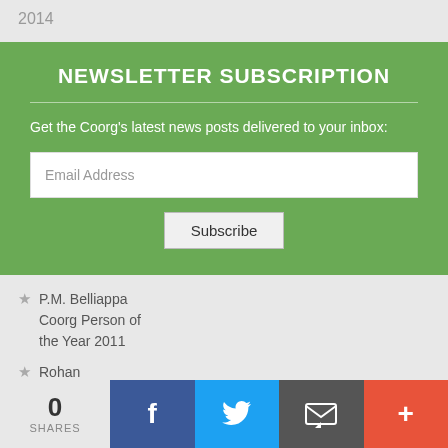2014
NEWSLETTER SUBSCRIPTION
Get the Coorg's latest news posts delivered to your inbox:
Email Address
Subscribe
P.M. Belliappa Coorg Person of the Year 2011
Rohan Bopanna Coorg
0 SHARES